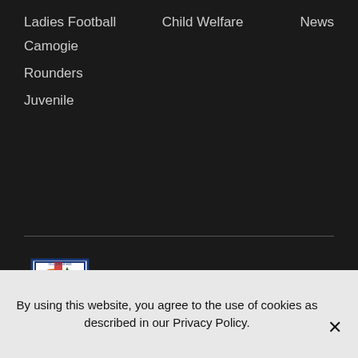Ladies Football
Child Welfare
News
Camogie
Rounders
Juvenile
[Figure (logo): Celbridge GAA Club crest/shield logo with blue border, red cross, green trees, rainbow arc, and gold banner]
© 2022 Celbridge GAA Club | Cill Droichid CLG . All rights reserved.
By using this website, you agree to the use of cookies as described in our Privacy Policy.